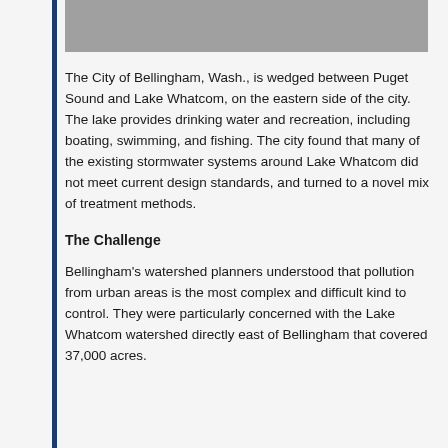[Figure (photo): Partial image visible at top of page, mostly cropped — gray area]
The City of Bellingham, Wash., is wedged between Puget Sound and Lake Whatcom, on the eastern side of the city. The lake provides drinking water and recreation, including boating, swimming, and fishing. The city found that many of the existing stormwater systems around Lake Whatcom did not meet current design standards, and turned to a novel mix of treatment methods.
The Challenge
Bellingham's watershed planners understood that pollution from urban areas is the most complex and difficult kind to control. They were particularly concerned with the Lake Whatcom watershed directly east of Bellingham that covered 37,000 acres.